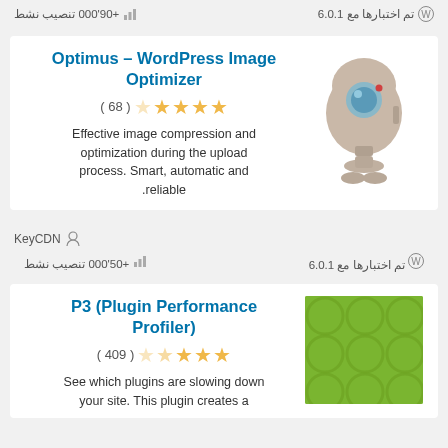+90'000 تنصيب نشط   تم اختبارها مع 6.0.1
Optimus – WordPress Image Optimizer
( 68 ) ★★★★☆ rating
Effective image compression and optimization during the upload process. Smart, automatic and reliable.
[Figure (illustration): Robot mascot image for Optimus plugin]
KeyCDN
+50'000 تنصيب نشط   تم اختبارها مع 6.0.1
P3 (Plugin Performance Profiler)
( 409 ) ★★★★☆ rating
See which plugins are slowing down your site. This plugin creates a
[Figure (illustration): Green circles pattern thumbnail for P3 plugin]